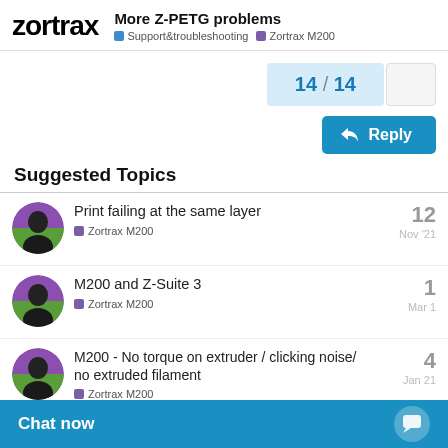zortrax — More Z-PETG problems — Support&troubleshooting — Zortrax M200
14 / 14
Reply
Suggested Topics
Print failing at the same layer — Zortrax M200 — 12 — Nov '21
M200 and Z-Suite 3 — Zortrax M200 — 1 — Mar 1
M200 - No torque on extruder / clicking noise/ no extruded filament — Zortrax M200 — 4 — Jan 21
Zortrax M200 M… buy Spare Part…
Chat now